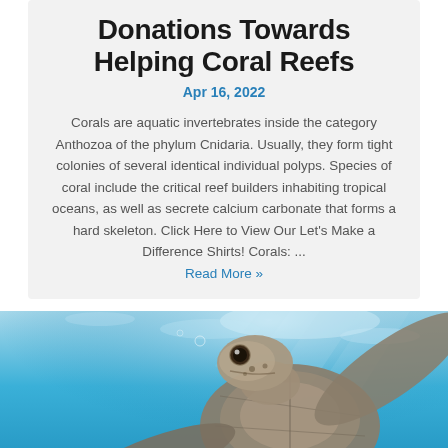Donations Towards Helping Coral Reefs
Apr 16, 2022
Corals are aquatic invertebrates inside the category Anthozoa of the phylum Cnidaria. Usually, they form tight colonies of several identical individual polyps. Species of coral include the critical reef builders inhabiting tropical oceans, as well as secrete calcium carbonate that forms a hard skeleton. Click Here to View Our Let's Make a Difference Shirts! Corals: ...
Read More »
[Figure (photo): Underwater photo of a sea turtle swimming in clear blue ocean water, viewed from front-below angle, with sunlight visible through the water surface above.]